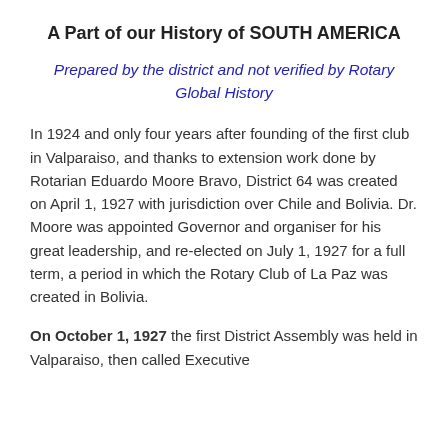A Part of our History of SOUTH AMERICA
Prepared by the district and not verified by Rotary Global History
In 1924 and only four years after founding of the first club in Valparaiso, and thanks to extension work done by Rotarian Eduardo Moore Bravo, District 64 was created on April 1, 1927 with jurisdiction over Chile and Bolivia. Dr. Moore was appointed Governor and organiser for his great leadership, and re-elected on July 1, 1927 for a full term, a period in which the Rotary Club of La Paz was created in Bolivia.
On October 1, 1927 the first District Assembly was held in Valparaiso, then called Executive